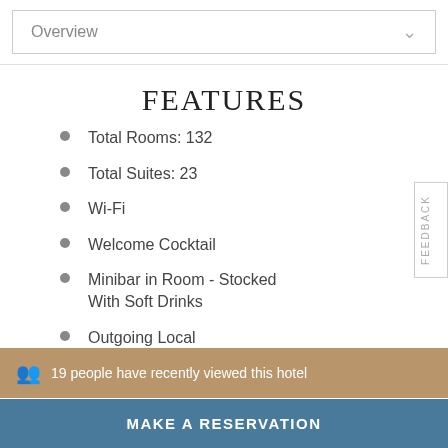Overview
FEATURES
Total Rooms: 132
Total Suites: 23
Wi-Fi
Welcome Cocktail
Minibar in Room - Stocked With Soft Drinks
Outgoing Local
19 people have recently viewed this hotel
MAKE A RESERVATION